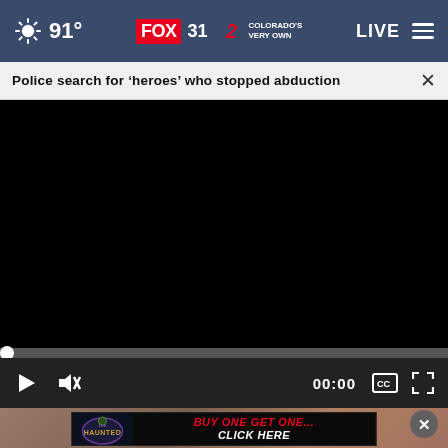91° FOX 31 2 COLORADO'S VERY OWN  LIVE
Police search for ‘heroes’ who stopped abduction
[Figure (screenshot): Video player showing black screen with playback controls: play button, mute button, 00:00 time display, captions icon, fullscreen icon; progress bar at bottom.]
[Figure (photo): Partial thumbnail image of a person visible below the video player.]
[Figure (infographic): Advertisement banner with Haunted Mansion logo on left and red/white text reading BUY ONE GET ONE CLICK HERE on black background.]